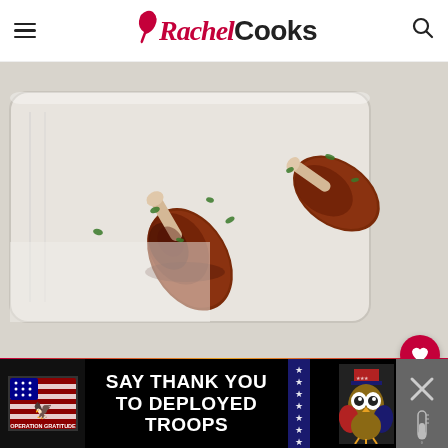Rachel Cooks
[Figure (photo): BBQ chicken drumsticks glazed with dark sauce and sprinkled with fresh herbs on a white baking sheet]
[Figure (infographic): Social interaction buttons: heart/favorite (223 saves) and share button on right side]
[Figure (infographic): Advertisement banner: Operation Gratitude - SAY THANK YOU TO DEPLOYED TROOPS with patriotic imagery]